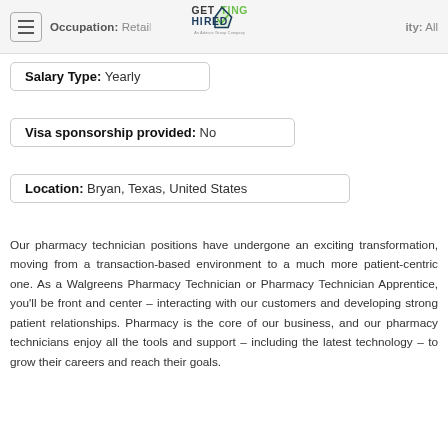Occupation: Retail ... ity: All
[Figure (logo): Getting Hired logo - An Adecco Group Company]
Salary Type: Yearly
Visa sponsorship provided: No
Location: Bryan, Texas, United States
Our pharmacy technician positions have undergone an exciting transformation, moving from a transaction-based environment to a much more patient-centric one. As a Walgreens Pharmacy Technician or Pharmacy Technician Apprentice, you'll be front and center – interacting with our customers and developing strong patient relationships. Pharmacy is the core of our business, and our pharmacy technicians enjoy all the tools and support – including the latest technology – to grow their careers and reach their goals.